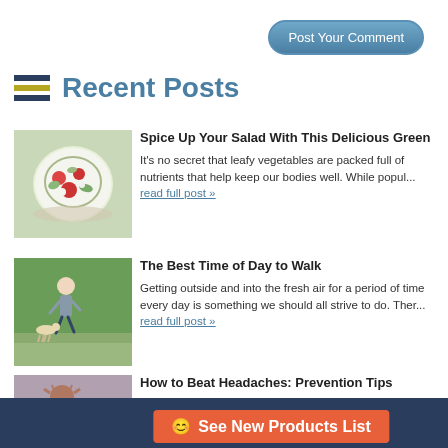Post Your Comment
Recent Posts
Spice Up Your Salad With This Delicious Green
It's no secret that leafy vegetables are packed full of nutrients that help keep our bodies well. While popul... read full post »
The Best Time of Day to Walk
Getting outside and into the fresh air for a period of time every day is something we should all strive to do. Ther... read full post »
How to Beat Headaches: Prevention Tips
Did you know that 50-75% of adults experience at least one headache each year? Among those, roughly 30% have report... read full post »
😊 See New Products List